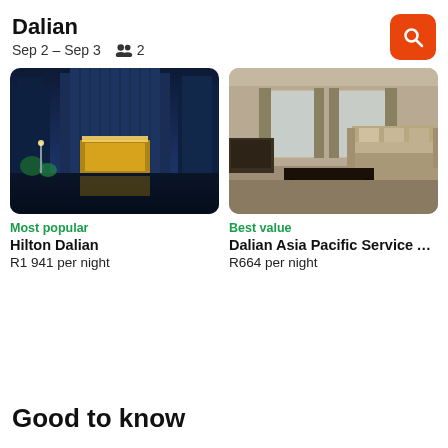Dalian
Sep 2 – Sep 3   👥 2
[Figure (photo): Exterior night shot of Hilton Dalian hotel with illuminated facade and reflective pool]
Most popular
Hilton Dalian
R1 941 per night
[Figure (photo): Interior room photo of Dalian Asia Pacific Service Apartments showing living area with sofa and coffee table]
Best value
Dalian Asia Pacific Service A...
R664 per night
Good to know